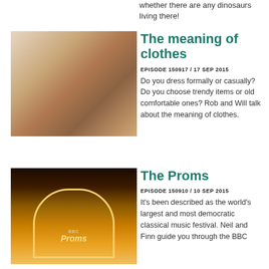whether there are any dinosaurs living there!
The meaning of clothes
EPISODE 150917 / 17 SEP 2015
Do you dress formally or casually? Do you choose trendy items or old comfortable ones? Rob and Will talk about the meaning of clothes.
[Figure (photo): Woman looking at colourful fabric in a shop]
The Proms
EPISODE 150910 / 10 SEP 2015
It's been described as the world's largest and most democratic classical music festival. Neil and Finn guide you through the BBC
[Figure (photo): BBC Proms building exterior at night with illuminated arch sign]